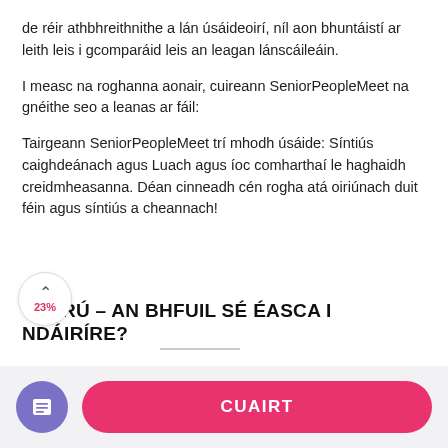de réir athbhreithnithe a lán úsáideoirí, níl aon bhuntáistí ar leith leis i gcomparáid leis an leagan lánscáileáin.
I measc na roghanna aonair, cuireann SeniorPeopleMeet na gnéithe seo a leanas ar fáil:
Tairgeann SeniorPeopleMeet trí mhodh úsáide: Síntiús caighdeánach agus Luach agus íoc comharthaí le haghaidh creidmheasanna. Déan cinneadh cén rogha atá oiriúnach duit féin agus síntiús a cheannach!
CLÁRÚ – AN BHFUIL SÉ ÉASCA I NDÁIRÍRE?
CUAIRT